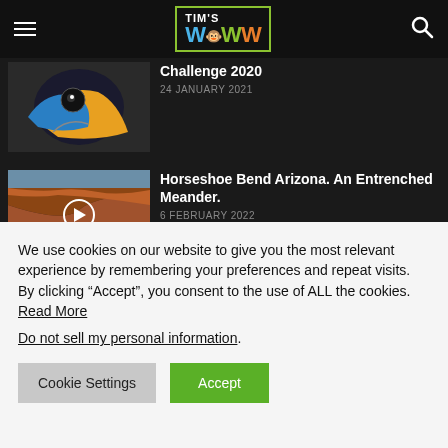Tim's WWW
[Figure (screenshot): Article thumbnail: colorful bird/animal painting, partial view]
Challenge 2020
24 January 2021
[Figure (photo): Aerial photo of Horseshoe Bend Arizona showing the river meander with play button overlay]
Horseshoe Bend Arizona. An Entrenched Meander.
6 February 2022
[Figure (screenshot): Thumbnail for Australian Green Tree Frog article]
The Australian Green Tree Frog
We use cookies on our website to give you the most relevant experience by remembering your preferences and repeat visits. By clicking “Accept”, you consent to the use of ALL the cookies. Read More
Do not sell my personal information.
Cookie Settings
Accept